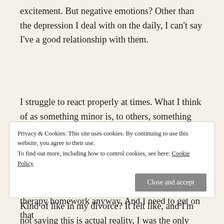excitement. But negative emotions? Other than the depression I deal with on the daily, I can't say I've a good relationship with them.
I struggle to react properly at times. What I think of as something minor is, to others, something major. I tolerate a lot. I have a high threshold for the various and sundry emotional fuckery that comes with having other people in your life. But sometimes, even my feelings get hurt.
Kind of like in my divorce? It felt like, and I'm not saying this is actual reality, I was the only one grieving the loss of
Privacy & Cookies: This site uses cookies. By continuing to use this website, you agree to their use.
To find out more, including how to control cookies, see here: Cookie Policy
therapy homework anyway. And I need to get on that